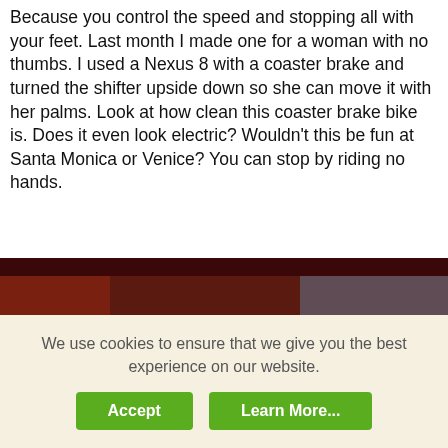Because you control the speed and stopping all with your feet. Last month I made one for a woman with no thumbs. I used a Nexus 8 with a coaster brake and turned the shifter upside down so she can move it with her palms. Look at how clean this coaster brake bike is. Does it even look electric? Wouldn't this be fun at Santa Monica or Venice? You can stop by riding no hands.
[Figure (photo): A red electric bicycle with coaster brake, photographed outdoors on a brick/tile surface with a dark red wall in the background. The bike has a black seat, silver handlebars, and a battery pack mounted on the frame.]
We use cookies to ensure that we give you the best experience on our website.